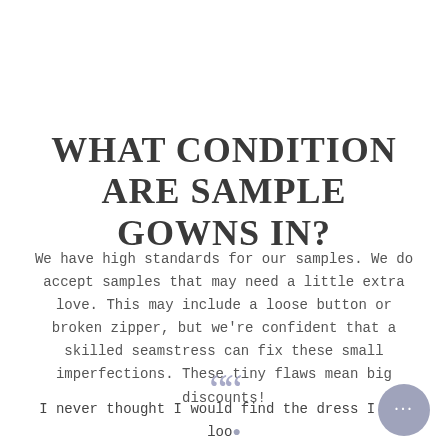WHAT CONDITION ARE SAMPLE GOWNS IN?
We have high standards for our samples. We do accept samples that may need a little extra love. This may include a loose button or broken zipper, but we're confident that a skilled seamstress can fix these small imperfections. These tiny flaws mean big discounts!
I never thought I would find the dress I was loo... for with my budget. I really wanted that high-end style without having to pay $10k for a dress! I'm so